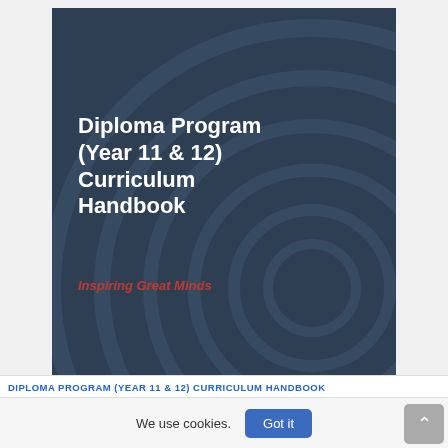[Figure (illustration): Book cover with dark navy blue background featuring concentric circles. Title text reads 'Diploma Program (Year 11 & 12) Curriculum Handbook' in white bold text, with tagline 'Inspiring Great Minds' in red italic text below.]
DIPLOMA PROGRAM (YEAR 11 & 12) CURRICULUM HANDBOOK
We use cookies.
Got it